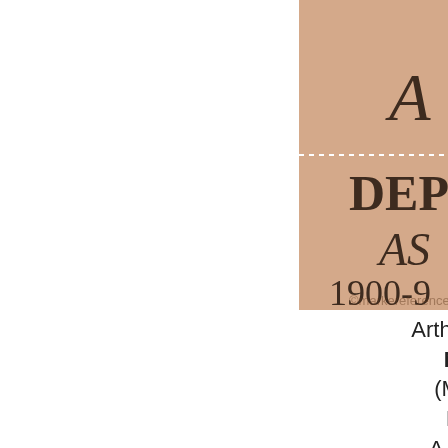[Figure (photo): A close-up photo of a doll maker's mark on tan/beige bisque porcelain showing: 'A 7 S' in top left quadrant, 'M... Germ... 50' in top right quadrant, 'DEP AS 1900-9' in bottom left quadrant, and a heart symbol with 'S' in bottom right quadrant, divided by dotted lines. Watermark reads 'markereference'.]
Arthur Schoenau doll mark MB 500 Germ (MB = Mein Che DEP AS 1900 A in a heart symb